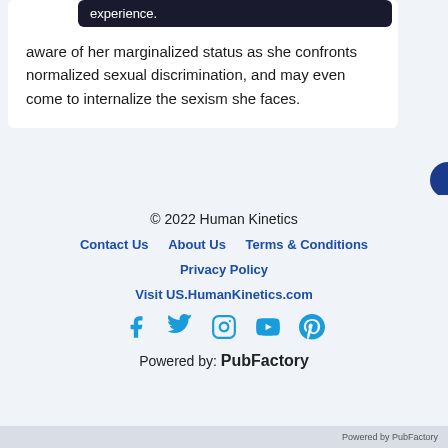experience. aware of her marginalized status as she confronts normalized sexual discrimination, and may even come to internalize the sexism she faces.
© 2022 Human Kinetics
Contact Us   About Us   Terms & Conditions
Privacy Policy
Visit US.HumanKinetics.com
[Figure (infographic): Social media icons: Facebook, Twitter, Instagram, YouTube, Pinterest]
Powered by: PubFactory
Powered by PubFactory